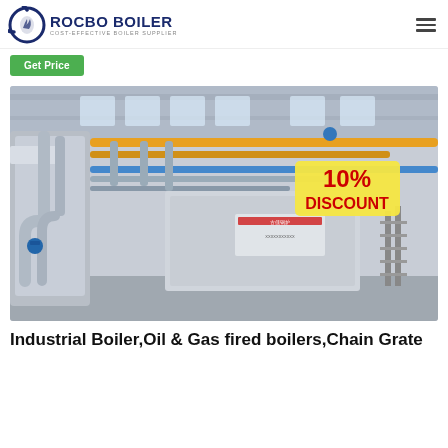ROCBO BOILER — COST-EFFECTIVE BOILER SUPPLIER
Get Price
[Figure (photo): Industrial boiler equipment in a factory — large silver/stainless steel boiler units with yellow and grey pipes, blue valves, a staircase on the right, and a 10% DISCOUNT badge overlaid on the upper right.]
Industrial Boiler,Oil & Gas fired boilers,Chain Grate